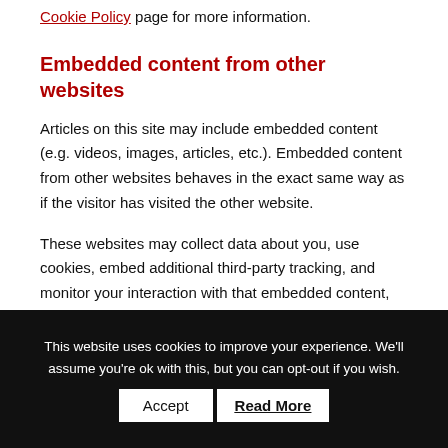Cookie Policy page for more information.
Embedded content from other websites
Articles on this site may include embedded content (e.g. videos, images, articles, etc.). Embedded content from other websites behaves in the exact same way as if the visitor has visited the other website.
These websites may collect data about you, use cookies, embed additional third-party tracking, and monitor your interaction with that embedded content, including tracing your interaction with the embedded content, if you have an account and are logged in to that website.
This website uses cookies to improve your experience. We'll assume you're ok with this, but you can opt-out if you wish.